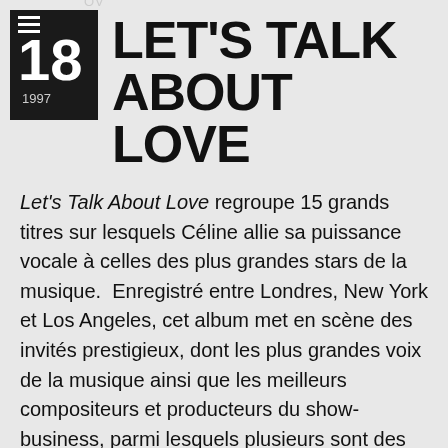NOV 18 1997 LET'S TALK ABOUT LOVE
Let's Talk About Love regroupe 15 grands titres sur lesquels Céline allie sa puissance vocale à celles des plus grandes stars de la musique.  Enregistré entre Londres, New York et Los Angeles, cet album met en scène des invités prestigieux, dont les plus grandes voix de la musique ainsi que les meilleurs compositeurs et producteurs du show-business, parmi lesquels plusieurs sont des idoles de Céline et René.
Le premier single, Tell Him, offre un duo de